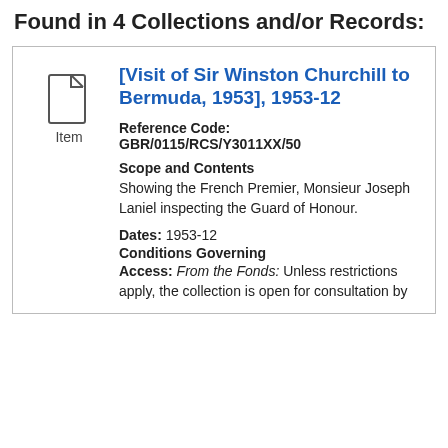Found in 4 Collections and/or Records:
Item
[Visit of Sir Winston Churchill to Bermuda, 1953], 1953-12
Reference Code: GBR/0115/RCS/Y3011XX/50
Scope and Contents
Showing the French Premier, Monsieur Joseph Laniel inspecting the Guard of Honour.
Dates: 1953-12
Conditions Governing Access:
From the Fonds: Unless restrictions apply, the collection is open for consultation by